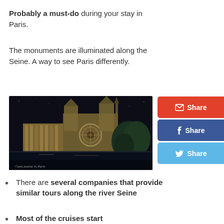Probably a must-do during your stay in Paris.
The monuments are illuminated along the Seine. A way to see Paris differently.
[Figure (photo): Night photo of Notre-Dame Cathedral illuminated along the Seine river, with Gothic spires and rose window lit against a dark sky. Watermark reads '©ann jeanne in Paris']
There are several companies that provide similar tours along the river Seine
Most of the cruises start